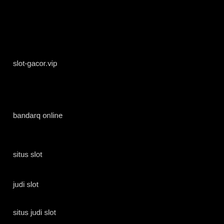slot-gacor.vip
bandarq online
situs slot
judi slot
situs judi slot
www.troutlet.com